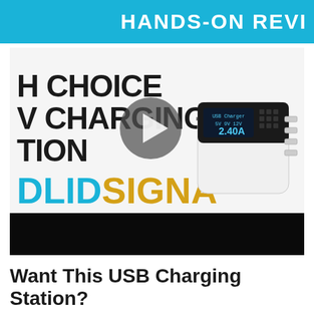HANDS-ON REVI
[Figure (screenshot): Video thumbnail showing a USB charging station review. Text overlays read 'H CHOICE', 'V CHARGING', 'TION' in large black font, and 'DLID SIGNA' as a brand logo in blue and yellow. A USB charging station device is visible in the upper right. A play button triangle is centered over the image. A black bar runs across the bottom of the thumbnail.]
Want This USB Charging Station?